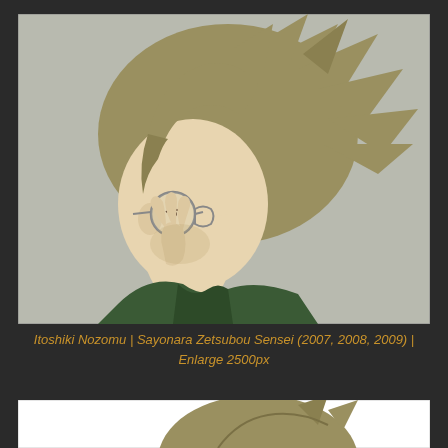[Figure (illustration): Anime illustration of Itoshiki Nozomu, a male character with messy olive/tan hair, round glasses, wearing a dark green high-collar jacket, shown in side profile with his hand raised near his face, against a muted gray-green background.]
Itoshiki Nozomu | Sayonara Zetsubou Sensei (2007, 2008, 2009) | Enlarge 2500px
[Figure (illustration): Partial anime illustration showing the top of a character's head with olive/tan hair against a white background, cropped at the bottom of the page.]